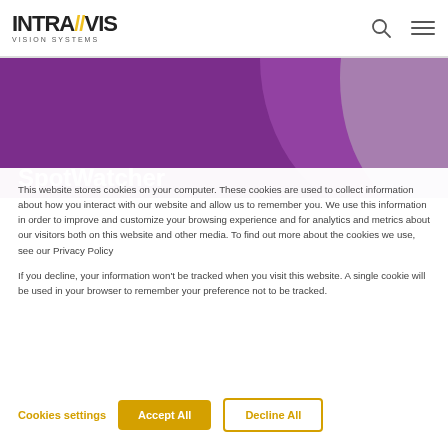INTRA//VIS VISION SYSTEMS
[Figure (illustration): Purple/violet curved background section with partial page title 'SpotWatcher' visible at bottom]
This website stores cookies on your computer. These cookies are used to collect information about how you interact with our website and allow us to remember you. We use this information in order to improve and customize your browsing experience and for analytics and metrics about our visitors both on this website and other media. To find out more about the cookies we use, see our Privacy Policy
If you decline, your information won't be tracked when you visit this website. A single cookie will be used in your browser to remember your preference not to be tracked.
Cookies settings   Accept All   Decline All